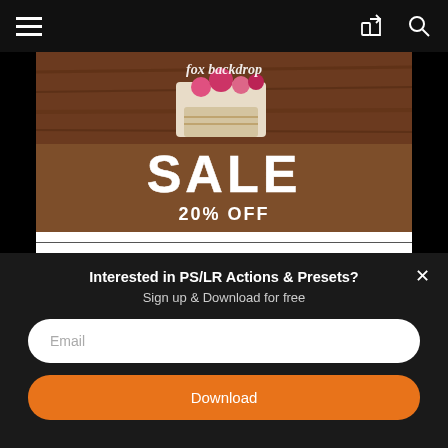Navigation bar with hamburger menu, share icon, and search icon
[Figure (illustration): Fox Backdrop sale banner: wooden table background with basket of flowers, brown lower section with text 'fox backdrop SALE 20% OFF' in white]
Interested in PS/LR Actions & Presets?
Sign up & Download for free
Email
Download